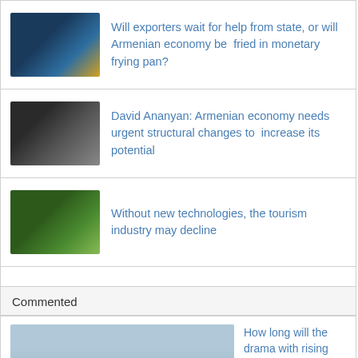Will exporters wait for help from state, or will Armenian economy be fried in monetary frying pan?
David Ananyan: Armenian economy needs urgent structural changes to increase its potential
Without new technologies, the tourism industry may decline
Read more
Commented
How long will the drama with rising dram last? - Haykaz Fanyan